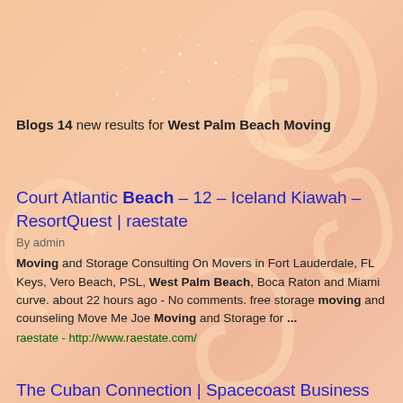Blogs 14 new results for West Palm Beach Moving
Court Atlantic Beach – 12 – Iceland Kiawah – ResortQuest | raestate
By admin
Moving and Storage Consulting On Movers in Fort Lauderdale, FL Keys, Vero Beach, PSL, West Palm Beach, Boca Raton and Miami curve. about 22 hours ago - No comments. free storage moving and counseling Move Me Joe Moving and Storage for ...
raestate - http://www.raestate.com/
The Cuban Connection | Spacecoast Business Magazine
By Spacecoast Business Magazine